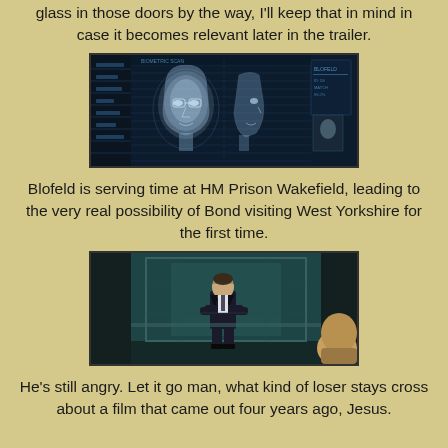glass in those doors by the way, I'll keep that in mind in case it becomes relevant later in the trailer.
[Figure (screenshot): A dark screen showing two 3D face scan holograms (faces rendered in blue-white grid/light), with a small thumbnail image in the top right corner on a dark blue background.]
Blofeld is serving time at HM Prison Wakefield, leading to the very real possibility of Bond visiting West Yorkshire for the first time.
[Figure (screenshot): A scene viewed through glass showing a man in a dark suit (James Bond) standing with arms crossed in a teal-lit room, viewed from behind by another person in the foreground.]
He's still angry. Let it go man, what kind of loser stays cross about a film that came out four years ago, Jesus.